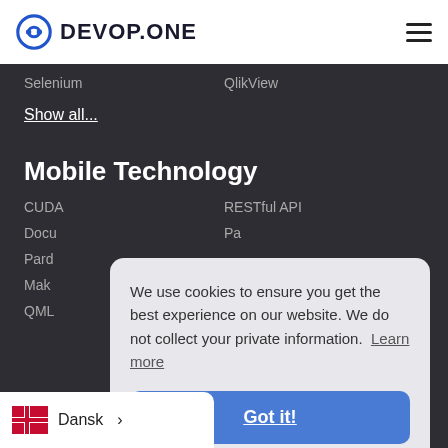DEVOP.ONE
Selenium
QlikView
Show all...
Mobile Technology
CUDA
RESTful API
DocuSign (partially visible)
Pardot (partially visible)
Mak... (partially visible)
QML (partially visible)
LMS (partially visible)
We use cookies to ensure you get the best experience on our website. We do not collect your private information. Learn more
Got it!
Dansk